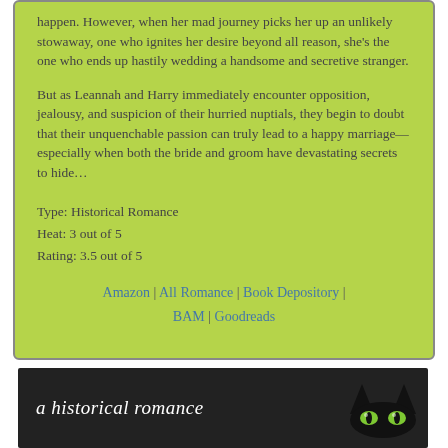happen. However, when her mad journey picks her up an unlikely stowaway, one who ignites her desire beyond all reason, she’s the one who ends up hastily wedding a handsome and secretive stranger.
But as Leannah and Harry immediately encounter opposition, jealousy, and suspicion of their hurried nuptials, they begin to doubt that their unquenchable passion can truly lead to a happy marriage—especially when both the bride and groom have devastating secrets to hide…
Type: Historical Romance
Heat: 3 out of 5
Rating: 3.5 out of 5
Amazon | All Romance | Book Depository | BAM | Goodreads
[Figure (illustration): Black banner with white italic text reading 'a historical romance' and a stylized cat face with green eyes on the right side]